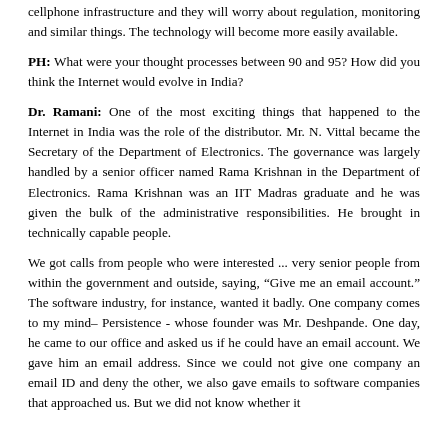cellphone infrastructure and they will worry about regulation, monitoring and similar things. The technology will become more easily available.
PH: What were your thought processes between 90 and 95? How did you think the Internet would evolve in India?
Dr. Ramani: One of the most exciting things that happened to the Internet in India was the role of the distributor. Mr. N. Vittal became the Secretary of the Department of Electronics. The governance was largely handled by a senior officer named Rama Krishnan in the Department of Electronics. Rama Krishnan was an IIT Madras graduate and he was given the bulk of the administrative responsibilities. He brought in technically capable people.
We got calls from people who were interested ... very senior people from within the government and outside, saying, “Give me an email account.” The software industry, for instance, wanted it badly. One company comes to my mind– Persistence - whose founder was Mr. Deshpande. One day, he came to our office and asked us if he could have an email account. We gave him an email address. Since we could not give one company an email ID and deny the other, we also gave emails to software companies that approached us. But we did not know whether it